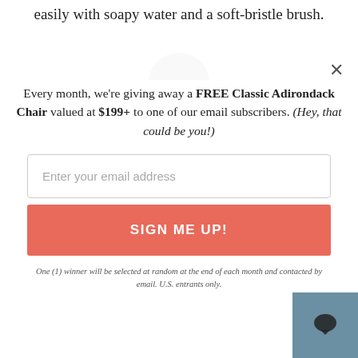easily with soapy water and a soft-bristle brush.
[Figure (illustration): Dark grey semicircle icon at top of modal popup]
Every month, we're giving away a FREE Classic Adirondack Chair valued at $199+ to one of our email subscribers. (Hey, that could be you!)
Enter your email address
SIGN ME UP!
One (1) winner will be selected at random at the end of each month and contacted by email. U.S. entrants only.